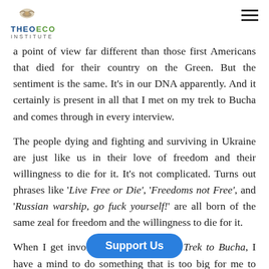THEOECO INSTITUTE
a point of view far different than those first Americans that died for their country on the Green. But the sentiment is the same. It's in our DNA apparently. And it certainly is present in all that I met on my trek to Bucha and comes through in every interview.
The people dying and fighting and surviving in Ukraine are just like us in their love of freedom and their willingness to die for it. It's not complicated. Turns out phrases like 'Live Free or Die', 'Freedoms not Free', and 'Russian warship, go fuck yourself!' are all born of the same zeal for freedom and the willingness to die for it.
When I get involved in a project like Trek to Bucha, I have a mind to do something that is too big for me to have much of an impact. The War in Ukraine [is] of quixotic endeavor.